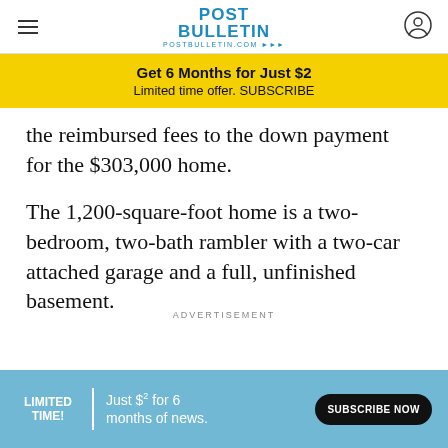POST BULLETIN — POSTBULLETIN.COM
Get 6 Months for Just $2
Limited time offer. SUBSCRIBE
the reimbursed fees to the down payment for the $303,000 home.
The 1,200-square-foot home is a two-bedroom, two-bath rambler with a two-car attached garage and a full, unfinished basement.
ADVERTISEMENT
LIMITED TIME! Just $2 for 6 months of news. SUBSCRIBE NOW